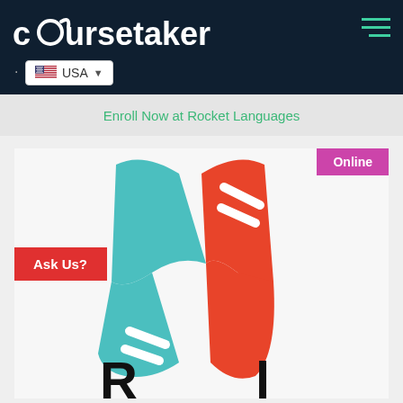[Figure (logo): Coursetakers logo with stylized 'o' and text on dark navy background]
[Figure (logo): USA country selector button with US flag icon and dropdown arrow]
Enroll Now at Rocket Languages
Online
Ask Us?
[Figure (logo): Rocket Languages logo: teal and red/orange abstract open book or rocket wing shapes forming stylized letters, with partial black letters visible at bottom]